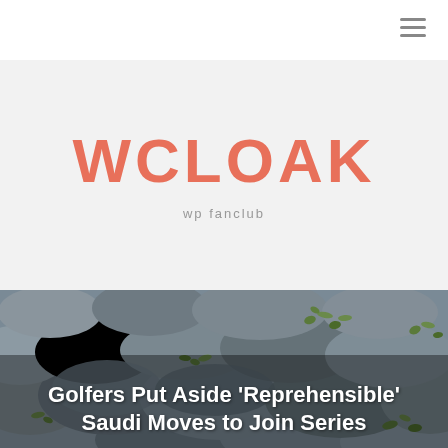≡
WCLOAK
wp fanclub
[Figure (photo): Close-up photograph of smooth gray river stones with small green plants growing between them]
Golfers Put Aside 'Reprehensible' Saudi Moves to Join Series